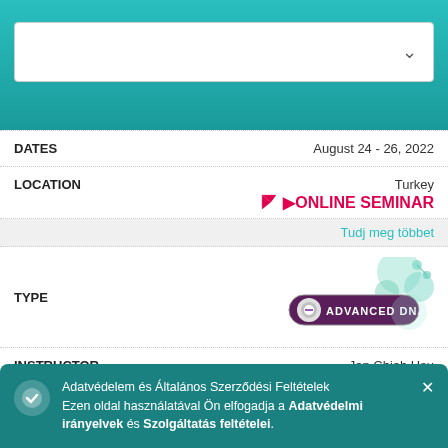[Figure (screenshot): Teal/green gradient top bar with a white dropdown box containing a chevron arrow]
| DATES | August 24 - 26, 2022 |
| LOCATION | Turkey / ONLINE SEMINAR |
|  | Tudj meg többet |
| TYPE | ADVANCED DNA badge |
| INSTRUCTOR | Jen Chieh Hsu |
| DATES | August 24 - 26, 2022 |
| LOCATION | Taiwan, Republic of China |
Adatvédelem és Általános Szerződési Feltételek Ezen oldal használatával Ön elfogadja a Adatvédelmi irányelvek és Szolgáltatás feltételei.